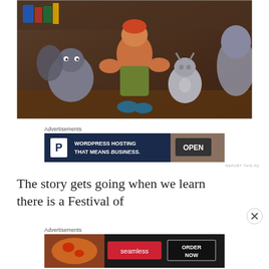[Figure (illustration): Animated scene from The Hunchback of Notre Dame showing Quasimodo sitting with gargoyle companions Hugo, Victor, and Laverne in his bell tower room.]
Advertisements
[Figure (other): Advertisement banner for WordPress hosting: 'WORDPRESS HOSTING THAT MEANS BUSINESS.' with Pressable logo and an OPEN sign photo.]
The story gets going when we learn there is a Festival of
Advertisements
[Figure (other): Advertisement banner for Seamless food delivery: pizza image on left, Seamless logo in red center, ORDER NOW button on right.]